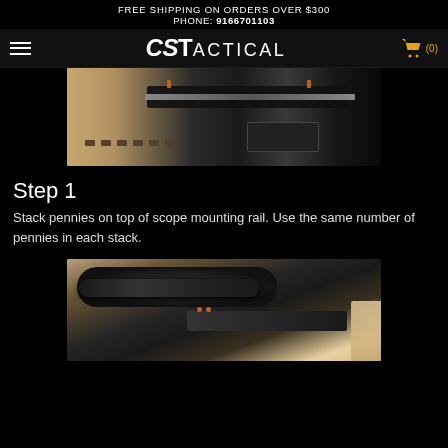FREE SHIPPING ON ORDERS OVER $300
PHONE: 9166701103
CSTACTICAL
[Figure (photo): Close-up photo of a firearm scope mounting rail with red-tipped screws on top and a black rail system]
Step 1
Stack pennies on top of scope mounting rail.  Use the same number of pennies in each stack.
[Figure (photo): Photo of a rifle scope mounted on a firearm rail, close-up view showing scope body and mounting hardware]